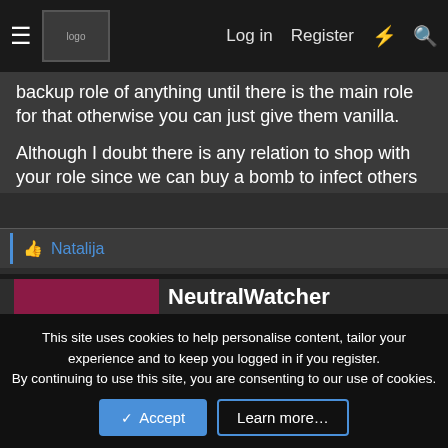≡  [logo]  Log in  Register  ⚡  🔍
backup role of anything until there is the main role for that otherwise you can just give them vanilla.
Although I doubt there is any relation to shop with your role since we can buy a bomb to infect others
👍 Natalija
NeutralWatcher
[Figure (illustration): Dark crimson square avatar with large letter N in lighter pink color, representing user NeutralWatcher]
This site uses cookies to help personalise content, tailor your experience and to keep you logged in if you register.
By continuing to use this site, you are consenting to our use of cookies.
✓ Accept    Learn more…